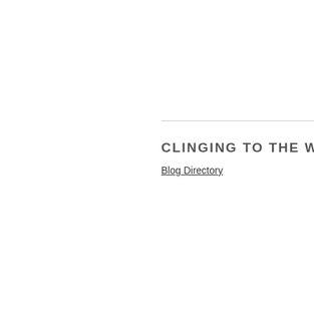CLINGING TO THE WRECKAGE
Blog Directory
CLINGING T
[Figure (logo): RSS feed icon - red square with white RSS symbol]
CATEGORIES
TOP POSTS
Douglas Spink (dropdown/select)
The Oracl
See Spoth
Clinging to
Publicatio
Get those
The Begu
The night
A sense o
Reviews